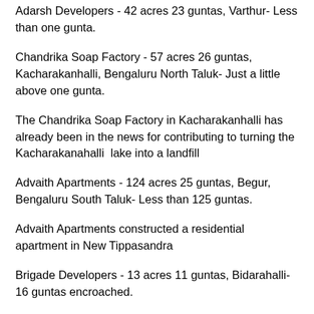Adarsh Developers - 42 acres 23 guntas, Varthur- Less than one gunta.
Chandrika Soap Factory - 57 acres 26 guntas, Kacharakanhalli, Bengaluru North Taluk- Just a little above one gunta.
The Chandrika Soap Factory in Kacharakanhalli has already been in the news for contributing to turning the Kacharakanahalli  lake into a landfill
Advaith Apartments - 124 acres 25 guntas, Begur, Bengaluru South Taluk- Less than 125 guntas.
Advaith Apartments constructed a residential apartment in New Tippasandra
Brigade Developers - 13 acres 11 guntas, Bidarahalli- 16 guntas encroached.
Apartment Complex and Oberoi Company - 99 acres 33 guntas Kodigehalli, Bengaluru North Additional Taluk- Less than 35 guntas encroached from the lake.